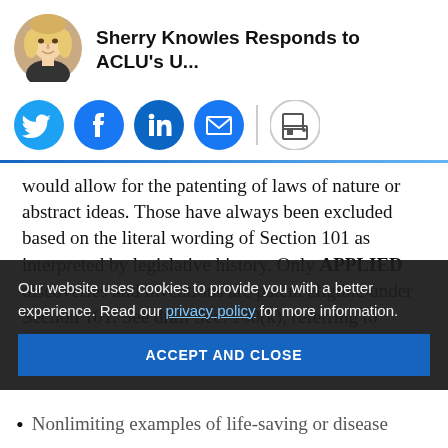Sherry Knowles Responds to ACLU's U...
[Figure (illustration): Circular avatar photo of a blonde woman]
[Figure (infographic): Social media sharing icons row: Twitter, Facebook, LinkedIn, Email, Print]
would allow for the patenting of laws of nature or abstract ideas. Those have always been excluded based on the literal wording of Section 101 as interpreted by legislative history. Only APPLIED discoveries and inventions are patent eligible under Section 101. See draft Sec. 100(k), referring to “human intervention”.
Our website uses cookies to provide you with a better experience. Read our privacy policy for more information.
ACCEPT AND CLOSE
Nonlimiting examples of life-saving or disease